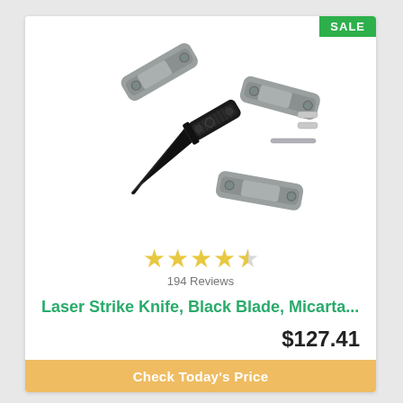[Figure (photo): Product photo of a Laser Strike Knife kit with black blade, gray Micarta handle scales, and small metal pins/tools disassembled and laid out]
SALE
194 Reviews
Laser Strike Knife, Black Blade, Micarta...
$127.41
Check Today's Price